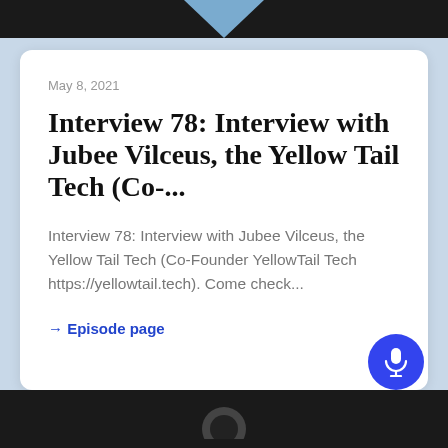[Figure (screenshot): Top dark navigation bar with a light-blue downward-pointing triangle/chevron in the center]
May 8, 2021
Interview 78: Interview with Jubee Vilceus, the Yellow Tail Tech (Co-...
Interview 78: Interview with Jubee Vilceus, the Yellow Tail Tech (Co-Founder YellowTail Tech https://yellowtail.tech). Come check...
→ Episode page
[Figure (screenshot): Bottom dark bar with partial podcast player graphic and blue microphone button]